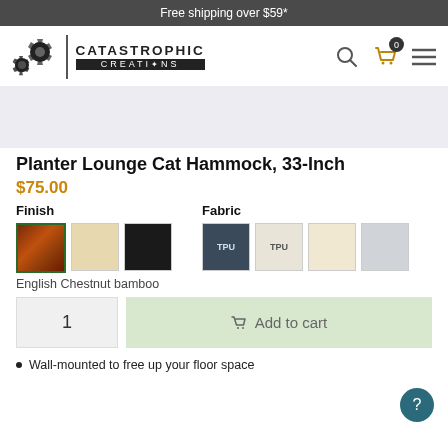Free shipping over $59*
[Figure (logo): Catastrophic Creations logo with gear icons and brand name]
[Figure (other): Advertisement banner placeholder]
Planter Lounge Cat Hammock, 33-Inch
$75.00
Finish
Fabric
English Chestnut bamboo
1
Add to cart
Wall-mounted to free up your floor space